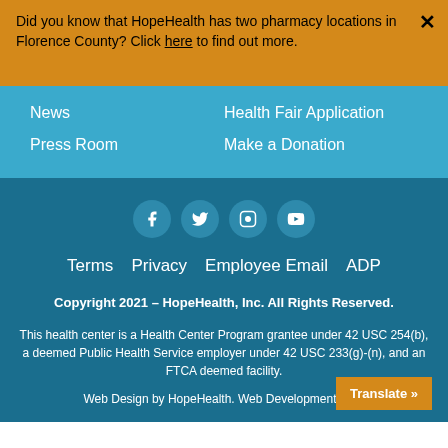Did you know that HopeHealth has two pharmacy locations in Florence County? Click here to find out more.
News
Press Room
Health Fair Application
Make a Donation
[Figure (infographic): Social media icons: Facebook, Twitter, Instagram, YouTube]
Terms   Privacy   Employee Email   ADP
Copyright 2021 - HopeHealth, Inc. All Rights Reserved.
This health center is a Health Center Program grantee under 42 USC 254(b), a deemed Public Health Service employer under 42 USC 233(g)-(n), and an FTCA deemed facility.
Web Design by HopeHealth. Web Development by N
Translate »